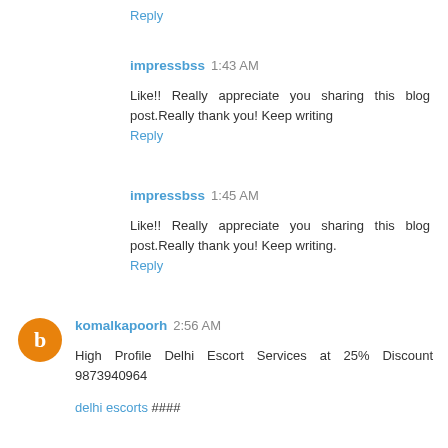Reply
impressbss  1:43 AM
Like!! Really appreciate you sharing this blog post.Really thank you! Keep writing
Reply
impressbss  1:45 AM
Like!! Really appreciate you sharing this blog post.Really thank you! Keep writing.
Reply
komalkapoorh  2:56 AM
High Profile Delhi Escort Services at 25% Discount 9873940964
delhi escorts ####